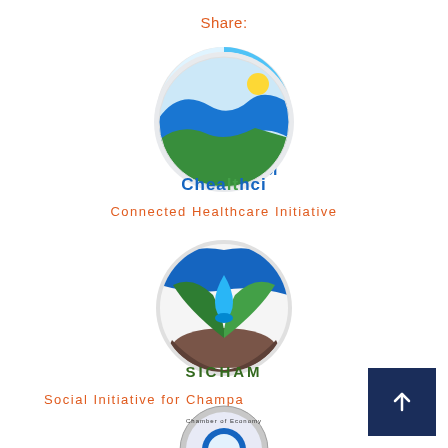Share:
[Figure (logo): Chealthci - Connected Healthcare Initiative logo: circular blue/green/white design with sun element, text 'Chealthci' below in blue]
Connected Healthcare Initiative
[Figure (logo): SICHAM - Social Initiative for Champa logo: circular design with blue top, green leaves and water drop, brown earth base, text 'SICHAM' below]
Social Initiative for Champa
[Figure (logo): Chamber of Economy logo (partially visible at bottom)]